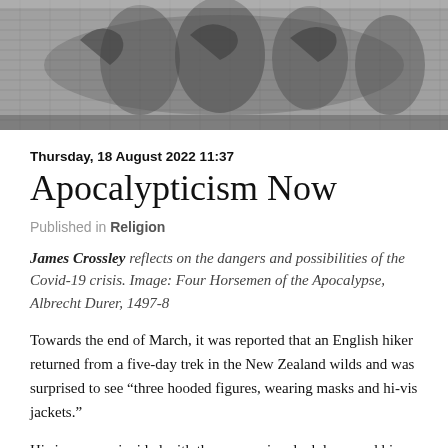[Figure (illustration): Black and white engraving of the Four Horsemen of the Apocalypse by Albrecht Durer, 1497-8, showing dramatic figures on horseback]
Thursday, 18 August 2022 11:37
Apocalypticism Now
Published in Religion
James Crossley reflects on the dangers and possibilities of the Covid-19 crisis. Image: Four Horsemen of the Apocalypse, Albrecht Durer, 1497-8
Towards the end of March, it was reported that an English hiker returned from a five-day trek in the New Zealand wilds and was surprised to see “three hooded figures, wearing masks and hi-vis jackets.”
His journey coincided with the coronavirus lockdown and his response was that the three figures were like a “post-apocalyptic survivor squad.” Despite his atypical situation, he was not alone in framing these unusual